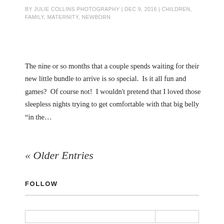BY JULIE COLLINS PHOTOGRAPHY | DEC 9, 2016 | CHILDREN, FAMILY, MATERNITY, NEWBORN
The nine or so months that a couple spends waiting for their new little bundle to arrive is so special.  Is it all fun and games?  Of course not!  I wouldn't pretend that I loved those sleepless nights trying to get comfortable with that big belly “in the…
« Older Entries
FOLLOW
|  |  |